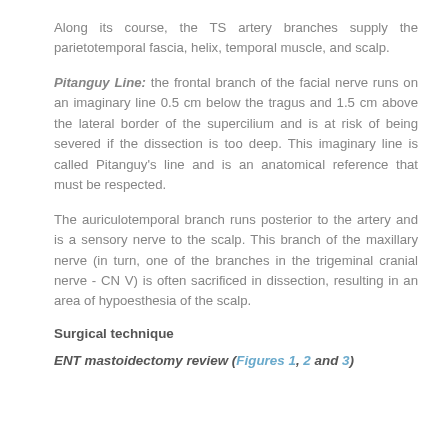Along its course, the TS artery branches supply the parietotemporal fascia, helix, temporal muscle, and scalp.
Pitanguy Line: the frontal branch of the facial nerve runs on an imaginary line 0.5 cm below the tragus and 1.5 cm above the lateral border of the supercilium and is at risk of being severed if the dissection is too deep. This imaginary line is called Pitanguy's line and is an anatomical reference that must be respected.
The auriculotemporal branch runs posterior to the artery and is a sensory nerve to the scalp. This branch of the maxillary nerve (in turn, one of the branches in the trigeminal cranial nerve - CN V) is often sacrificed in dissection, resulting in an area of hypoesthesia of the scalp.
Surgical technique
ENT mastoidectomy review (Figures 1, 2 and 3)